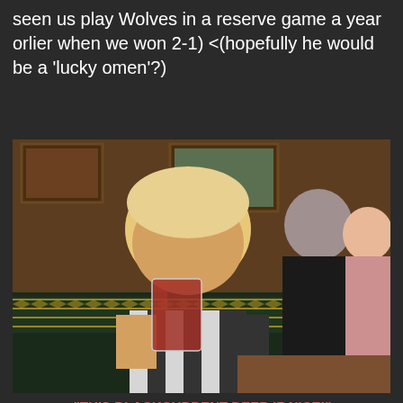seen us play Wolves in a reserve game a year orlier when we won 2-1) <(hopefully he would be a 'lucky omen'?)
[Figure (photo): A young blonde boy in a pub wearing a black and white striped jersey, drinking from a glass. Two adults are visible in the background, one in a dark jacket and one smiling. Pub decor visible including pictures on the wall and green patterned seating.]
"THIS BLACKCURRENT BEER IZ NICE!"
[Figure (photo): A young boy sitting in a pub booth with green patterned seating, appearing tired or sleepy. An adult's hand is visible in the lower right corner.]